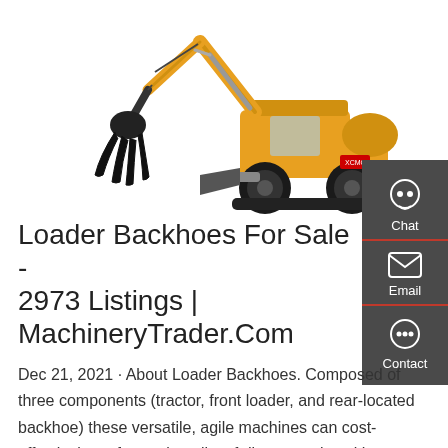[Figure (photo): Yellow wheeled excavator/loader backhoe with grapple attachment on the arm, white background]
Loader Backhoes For Sale - 2973 Listings | MachineryTrader.Com
Dec 21, 2021 · About Loader Backhoes. Composed of three components (tractor, front loader, and rear-located backhoe) these versatile, agile machines can cost-effectively perform a long list of diverse tasks, either on their own or when paired …